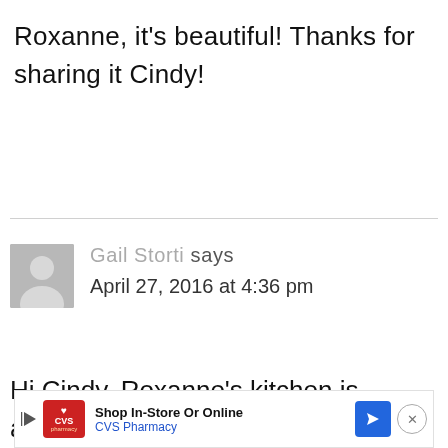Roxanne, it's beautiful! Thanks for sharing it Cindy!
Gail Storti says
April 27, 2016 at 4:36 pm
Hi Cindy, Roxanne's kitchen is amazing, I love everything g
[Figure (other): CVS Pharmacy advertisement banner with logo, 'Shop In-Store Or Online' text, navigation arrow icon, and close button]